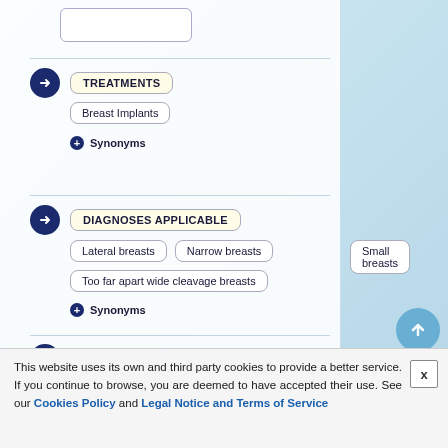TREATMENTS
Breast Implants
Synonyms
DIAGNOSES APPLICABLE
Lateral breasts
Narrow breasts
Small breasts
Too far apart wide cleavage breasts
Synonyms
TECHNIQUES EMPLOYED
Anatomical shape
Inframammary incision
Subfascial pocket plane
This website uses its own and third party cookies to provide a better service. If you continue to browse, you are deemed to have accepted their use. See our Cookies Policy and Legal Notice and Terms of Service